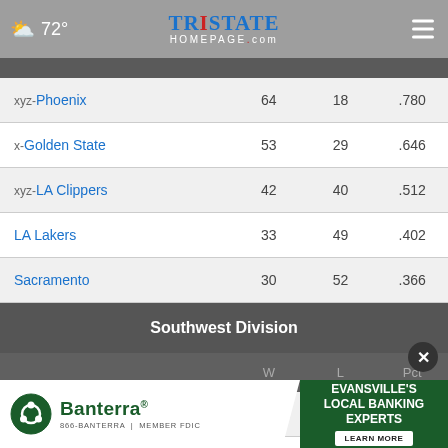72° | TristateHomepage.com
| Team | W | L | Pct |
| --- | --- | --- | --- |
| xyz-Phoenix | 64 | 18 | .780 |
| x-Golden State | 53 | 29 | .646 |
| xyz-LA Clippers | 42 | 40 | .512 |
| LA Lakers | 33 | 49 | .402 |
| Sacramento | 30 | 52 | .366 |
Southwest Division
| Team | W | L | Pct |
| --- | --- | --- | --- |
| xy-Memphis | 56 | 26 | .683 |
| x-Dallas |  |  |  |
[Figure (other): Banterra local banking ad banner with close button overlay]